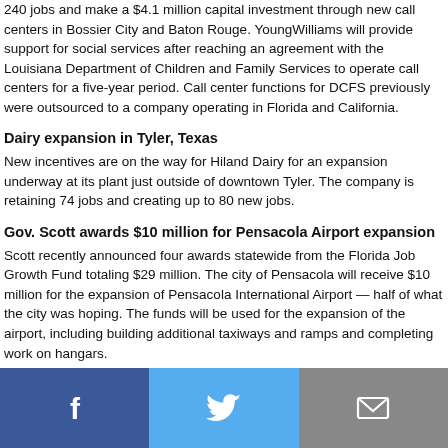240 jobs and make a $4.1 million capital investment through new call centers in Bossier City and Baton Rouge. YoungWilliams will provide support for social services after reaching an agreement with the Louisiana Department of Children and Family Services to operate call centers for a five-year period. Call center functions for DCFS previously were outsourced to a company operating in Florida and California.
Dairy expansion in Tyler, Texas
New incentives are on the way for Hiland Dairy for an expansion underway at its plant just outside of downtown Tyler. The company is retaining 74 jobs and creating up to 80 new jobs.
Gov. Scott awards $10 million for Pensacola Airport expansion
Scott recently announced four awards statewide from the Florida Job Growth Fund totaling $29 million. The city of Pensacola will receive $10 million for the expansion of Pensacola International Airport — half of what the city was hoping. The funds will be used for the expansion of the airport, including building additional taxiways and ramps and completing work on hangars.
[Figure (infographic): Social media share buttons: Facebook (blue), Twitter (light blue), Email (gray)]